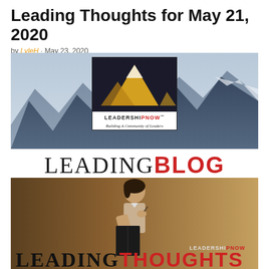Leading Thoughts for May 21, 2020
by LyleH · May 23, 2020
[Figure (logo): LeadershipNow mountain banner logo with text 'LEADERSHIPNOW Building A Community of Leaders']
[Figure (logo): LeadingBlog text logo in black and red]
[Figure (photo): Vintage black and white photo of a woman holding a book and pen, thinking, with LeadershipNow logo and 'LEADING THOUGHTS' text overlay at bottom]